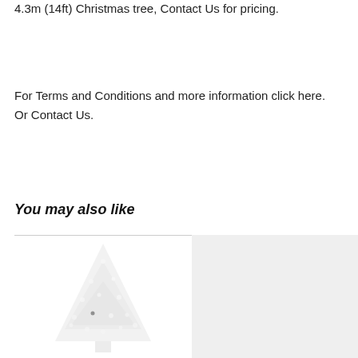4.3m (14ft) Christmas tree, Contact Us for pricing.
For Terms and Conditions and more information click here.
Or Contact Us.
You may also like
[Figure (photo): Two product images side by side: left shows a faint white Christmas tree with lights on a white background, right shows a light grey placeholder rectangle.]